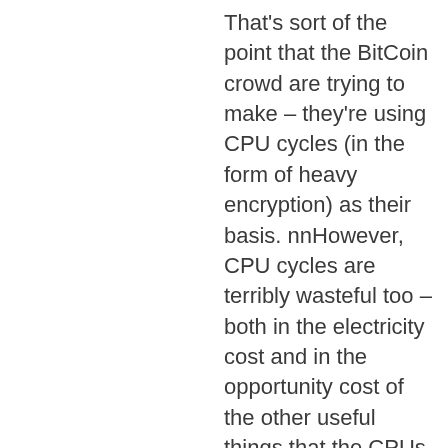That's sort of the point that the BitCoin crowd are trying to make – they're using CPU cycles (in the form of heavy encryption) as their basis. nnHowever, CPU cycles are terribly wasteful too – both in the electricity cost and in the opportunity cost of the other useful things that the CPUs could be using. In addition, the quantity of